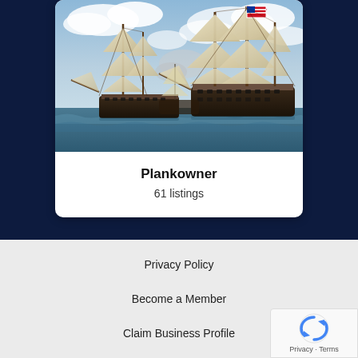[Figure (photo): Painting of two large sailing warships in a naval battle on the sea, with sails unfurled and an American flag visible, against a cloudy sky.]
Plankowner
61 listings
Privacy Policy
Become a Member
Claim Business Profile